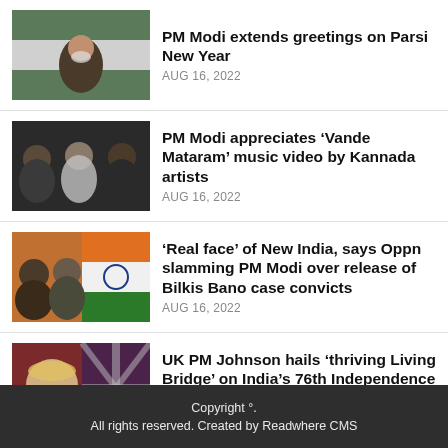[Figure (photo): PM Modi speaking, Indian flag in background]
PM Modi extends greetings on Parsi New Year
AUG 16, 2022
[Figure (photo): Three men, political figures, dark background]
PM Modi appreciates ‘Vande Mataram’ music video by Kannada artists
AUG 16, 2022
[Figure (photo): Two men with Indian flag tricolor in background]
‘Real face’ of New India, says Oppn slamming PM Modi over release of Bilkis Bano case convicts
AUG 16, 2022
[Figure (photo): Boris Johnson with UK flag in background]
UK PM Johnson hails ‘thriving Living Bridge’ on India’s 76th Independence Day
AUG 15, 2022
Copyright °.
All rights reserved. Created by Readwhere CMS